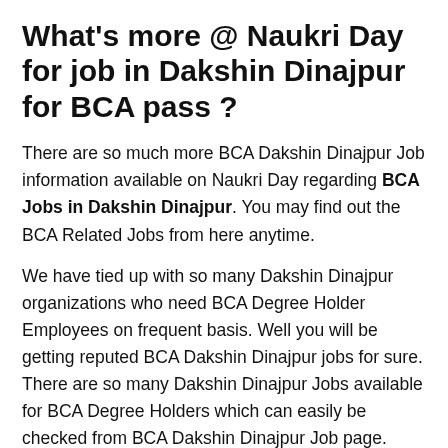What's more @ Naukri Day for job in Dakshin Dinajpur for BCA pass ?
There are so much more BCA Dakshin Dinajpur Job information available on Naukri Day regarding BCA Jobs in Dakshin Dinajpur. You may find out the BCA Related Jobs from here anytime.
We have tied up with so many Dakshin Dinajpur organizations who need BCA Degree Holder Employees on frequent basis. Well you will be getting reputed BCA Dakshin Dinajpur jobs for sure. There are so many Dakshin Dinajpur Jobs available for BCA Degree Holders which can easily be checked from BCA Dakshin Dinajpur Job page.